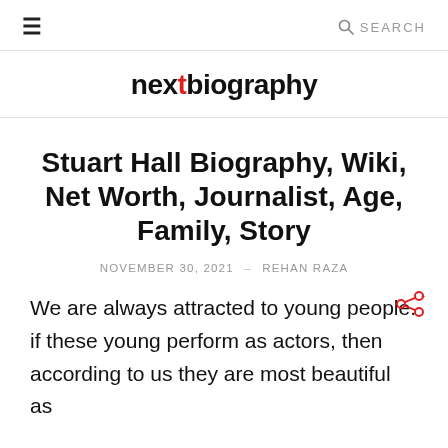≡  🔍 SEARCH
nextbiography
Stuart Hall Biography, Wiki, Net Worth, Journalist, Age, Family, Story
NOVEMBER 30, 2021 – REHAN RAZA
We are always attracted to young people. if these young perform as actors, then according to us they are most beautiful as